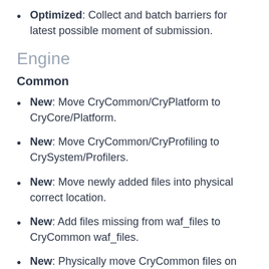Optimized: Collect and batch barriers for latest possible moment of submission.
Engine
Common
New: Move CryCommon/CryPlatform to CryCore/Platform.
New: Move CryCommon/CryProfiling to CrySystem/Profilers.
New: Move newly added files into physical correct location.
New: Add files missing from waf_files to CryCommon waf_files.
New: Physically move CryCommon files on disk to